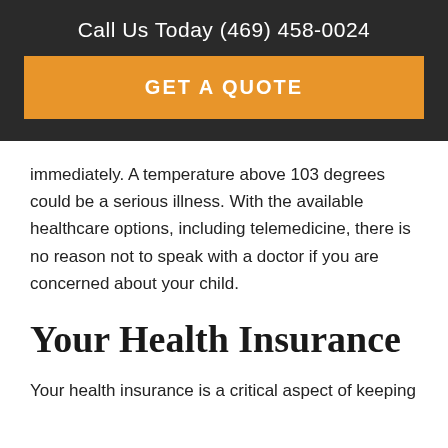Call Us Today (469) 458-0024
GET A QUOTE
immediately. A temperature above 103 degrees could be a serious illness. With the available healthcare options, including telemedicine, there is no reason not to speak with a doctor if you are concerned about your child.
Your Health Insurance
Your health insurance is a critical aspect of keeping